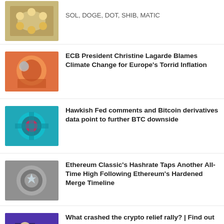SOL, DOGE, DOT, SHIB, MATIC
ECB President Christine Lagarde Blames Climate Change for Europe’s Torrid Inflation
Hawkish Fed comments and Bitcoin derivatives data point to further BTC downside
Ethereum Classic’s Hashrate Taps Another All-Time High Following Ethereum’s Hardened Merge Timeline
What crashed the crypto relief rally? | Find out now on The Market Report